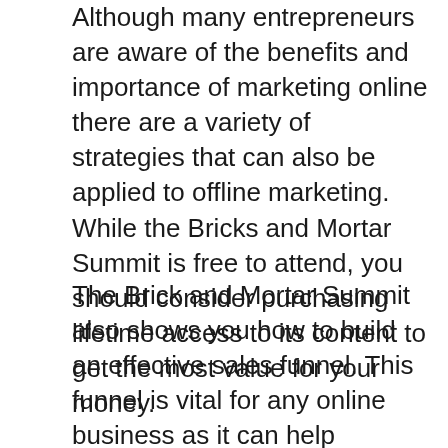Although many entrepreneurs are aware of the benefits and importance of marketing online there are a variety of strategies that can also be applied to offline marketing. While the Bricks and Mortar Summit is free to attend, you should consider purchasing lifetime access to its content to get the most value for your money.
The Brick and Mortar Summit also shows you how to build an effective sales funnel. This funnel is vital for any online business as it can help generate more leads and ultimately more sales. Participants will learn to identify new customers and make more sales. They will also be able generate five times more revenue. While traditional marketing strategies such as billboards and posters still